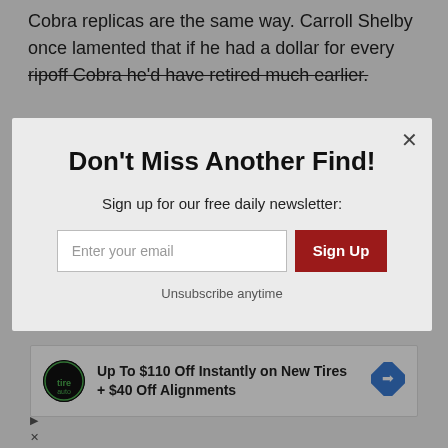Cobra replicas are the same way. Carroll Shelby once lamented that if he had a dollar for every ripoff Cobra he'd have retired much earlier.
[Figure (screenshot): Email newsletter signup modal overlay with title 'Don't Miss Another Find!', subtitle 'Sign up for our free daily newsletter:', an email input field, a dark red 'Sign Up' button, and 'Unsubscribe anytime' text.]
Jack Quantrill
Sep 24, 2019 at 10:23am
[Figure (screenshot): Advertisement banner: tire and auto logo, text 'Up To $110 Off Instantly on New Tires + $40 Off Alignments', with a blue diamond navigation icon.]